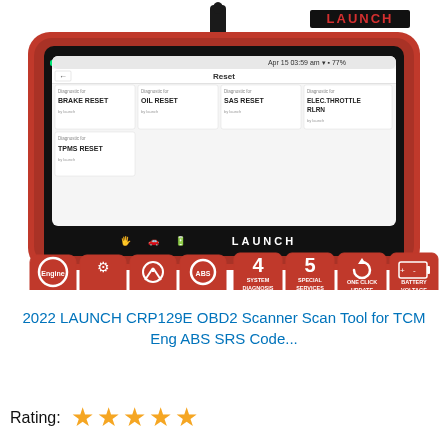[Figure (photo): LAUNCH CRP129E OBD2 scanner device shown with red housing, touchscreen displaying reset menu with BRAKE RESET, OIL RESET, SAS RESET, ELEC.THROTTLE RLRN, TPMS RESET options. Below device are feature icons: Engine, Transmission, SRS, ABS icons on left; 4 SYSTEM DIAGNOSIS, 5 SPECIAL SERVICES, ONE CLICK UPDATE, BATTERY VOLTAGE feature boxes on right.]
2022 LAUNCH CRP129E OBD2 Scanner Scan Tool for TCM Eng ABS SRS Code...
Rating: